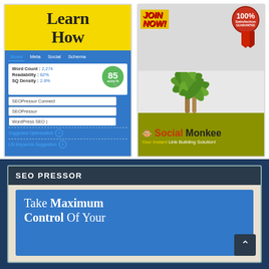[Figure (screenshot): SEOPressor plugin interface screenshot showing 'Learn How' in yellow box, with score panel (Word Count: 2,274, Readability: 82%, SQ Density: 2.8%, score 85), fields for SEOPressor Connect, SEOPressor, WordPress SEO, Suggested Optimization and LSI Keywords Suggestion links]
[Figure (screenshot): Social Monkee advertisement with JOIN NOW! banner, 100% Satisfaction Guarantee badge with red ribbon, palm tree illustration, and Social Monkee 'Your Instant Link Building Solution!' banner]
[Figure (screenshot): SEO PRESSOR section with dark header bar, blue content area showing 'Take Maximum Control Of Your' text in white, and a back-to-top arrow button]